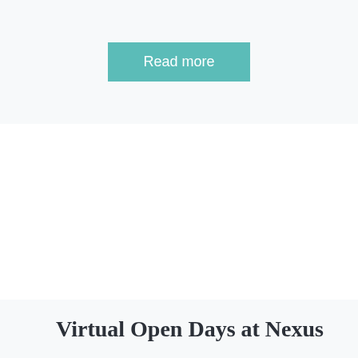Read more
Virtual Open Days at Nexus